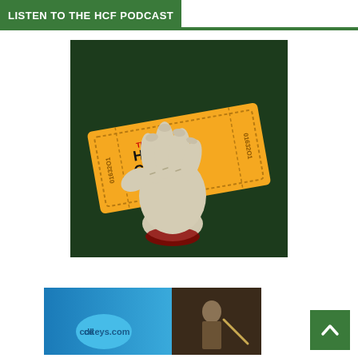LISTEN TO THE HCF PODCAST
[Figure (illustration): The Horror Cult Films Podcast logo: a zombie/severed hand holding a golden movie ticket with text 'THE HORROR CULT FILMS PODCAST' on a dark green background]
[Figure (illustration): CDKeys.com advertisement banner showing a warrior character from a video game with the cdkeys.com logo]
[Figure (other): Back to top arrow button in green square]